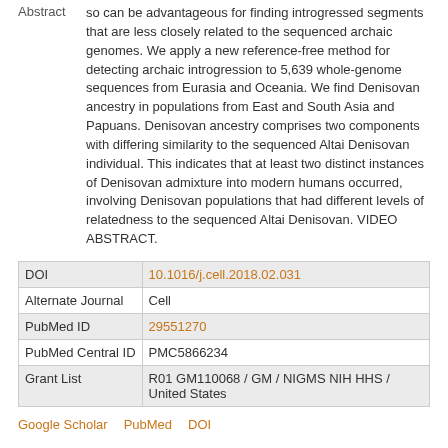so can be advantageous for finding introgressed segments that are less closely related to the sequenced archaic genomes. We apply a new reference-free method for detecting archaic introgression to 5,639 whole-genome sequences from Eurasia and Oceania. We find Denisovan ancestry in populations from East and South Asia and Papuans. Denisovan ancestry comprises two components with differing similarity to the sequenced Altai Denisovan individual. This indicates that at least two distinct instances of Denisovan admixture into modern humans occurred, involving Denisovan populations that had different levels of relatedness to the sequenced Altai Denisovan. VIDEO ABSTRACT.
| Field | Value |
| --- | --- |
| DOI | 10.1016/j.cell.2018.02.031 |
| Alternate Journal | Cell |
| PubMed ID | 29551270 |
| PubMed Central ID | PMC5866234 |
| Grant List | R01 GM110068 / GM / NIGMS NIH HHS / United States |
Google Scholar   PubMed   DOI